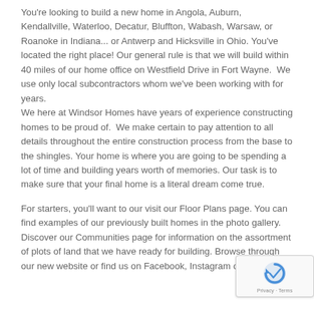You're looking to build a new home in Angola, Auburn, Kendallville, Waterloo, Decatur, Bluffton, Wabash, Warsaw, or Roanoke in Indiana... or Antwerp and Hicksville in Ohio. You've located the right place! Our general rule is that we will build within 40 miles of our home office on Westfield Drive in Fort Wayne.  We use only local subcontractors whom we've been working with for years.
We here at Windsor Homes have years of experience constructing homes to be proud of.  We make certain to pay attention to all details throughout the entire construction process from the base to the shingles. Your home is where you are going to be spending a lot of time and building years worth of memories. Our task is to make sure that your final home is a literal dream come true.
For starters, you'll want to our visit our Floor Plans page. You can find examples of our previously built homes in the photo gallery. Discover our Communities page for information on the assortment of plots of land that we have ready for building. Browse through our new website or find us on Facebook, Instagram or Youtube.